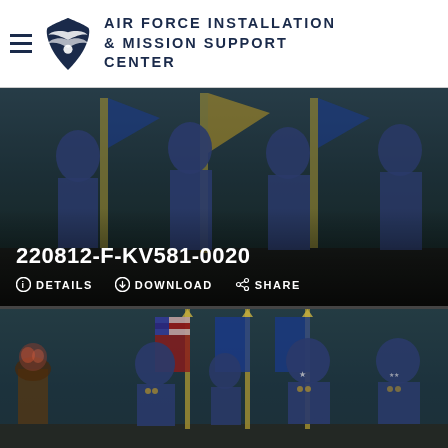AIR FORCE INSTALLATION & MISSION SUPPORT CENTER
[Figure (photo): Military ceremony photo showing Air Force officers in dress uniforms standing before flags in a formal hall. Photo ID: 220812-F-KV581-0020. Actions: DETAILS, DOWNLOAD, SHARE.]
[Figure (photo): Military group photo showing four Air Force officers in dress uniforms standing before American and Air Force flags in a formal hall.]